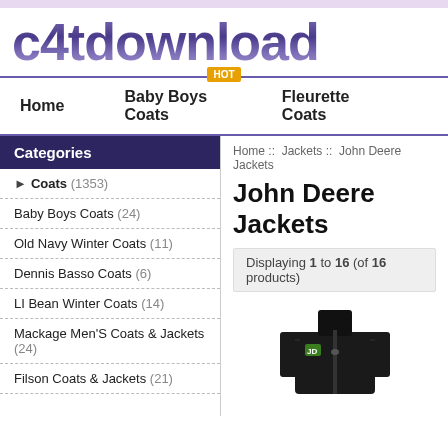c4tdownload
HOT
Home   Baby Boys Coats   Fleurette Coats
Categories
Coats (1353)
Baby Boys Coats (24)
Old Navy Winter Coats (11)
Dennis Basso Coats (6)
LI Bean Winter Coats (14)
Mackage Men'S Coats & Jackets (24)
Filson Coats & Jackets (21)
Home :: Jackets :: John Deere Jackets
John Deere Jackets
Displaying 1 to 16 (of 16 products)
[Figure (photo): Black John Deere zip-up jacket with green logo on chest]